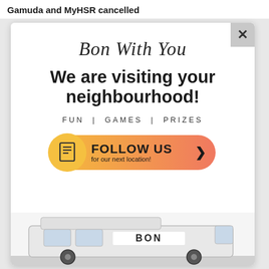Gamuda and MyHSR cancelled
[Figure (screenshot): Modal popup advertisement for 'Bon With You' campaign. Contains script-style title 'Bon With You', bold headline 'We are visiting your neighbourhood!', tagline 'FUN | GAMES | PRIZES', a gradient follow button 'FOLLOW US for our next location!' with arrow, and bottom image of a van with 'BON' branding. Close button (X) in top-right corner.]